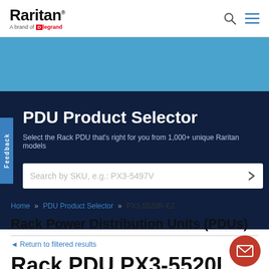[Figure (logo): Raritan logo with 'A brand of legrand' tagline]
Search and menu icons
[Figure (other): Blue banner background]
PDU Product Selector
Select the Rack PDU that's right for you from 1,000+ unique Raritan models
Search by SKU, e.g.: PX3-5497V
Home » PDU Product Selector » PX3-5520R-E2
Rack Power Distribution Units (PDUs)
Return to filtered results
Rack PDU PX3-5520R-E2